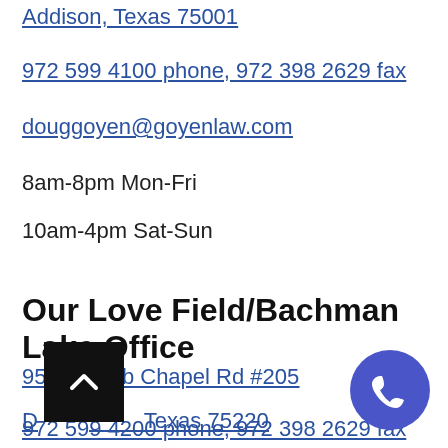Addison, Texas 75001
972 599 4100 phone, 972 398 2629 fax
douggoyen@goyenlaw.com
8am-8pm Mon-Fri
10am-4pm Sat-Sun
Our Love Field/Bachman Lake Office
9502 Webb Chapel Rd #205
Dallas, Texas 75220
972 599 4200 phone, 972 398 2629 fax